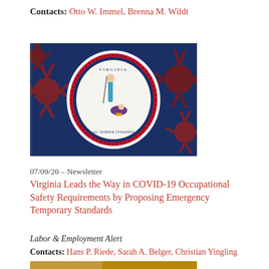Contacts: Otto W. Immel, Brenna M. Wildt
[Figure (photo): Virginia state flag with COVID-19 coronavirus particles overlaid on a blue background. The flag shows the state seal with Virtus figure.]
07/09/20 – Newsletter
Virginia Leads the Way in COVID-19 Occupational Safety Requirements by Proposing Emergency Temporary Standards
Labor & Employment Alert
Contacts: Hans P. Riede, Sarah A. Belger, Christian Yingling
[Figure (photo): Partial bottom photo, partially visible at bottom of page.]